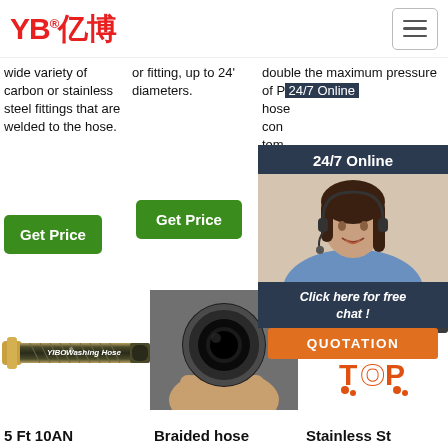YB亿博 logo and navigation hamburger
wide variety of carbon or stainless steel fittings that are welded to the hose.
or fitting, up to 24' diameters.
double the maximum pressure of P... hose con... tem...
[Figure (photo): Customer service representative woman with headset - 24/7 Online chat widget with QUOTATION button]
Get Price
Get Price
[Figure (photo): YIBO Washing Hose - rubber hose product image]
[Figure (photo): Hand holding end of black rubber hydraulic hose - close up]
[Figure (photo): YIBO SAE100R8 hydraulic hose product image with TOP badge]
5 Ft 10AN
Braided hose...
Stainless St...